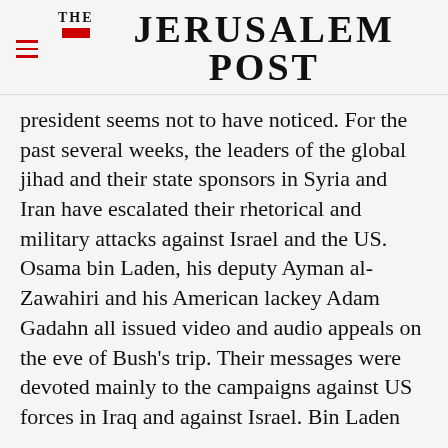THE JERUSALEM POST
president seems not to have noticed. For the past several weeks, the leaders of the global jihad and their state sponsors in Syria and Iran have escalated their rhetorical and military attacks against Israel and the US. Osama bin Laden, his deputy Ayman al-Zawahiri and his American lackey Adam Gadahn all issued video and audio appeals on the eve of Bush's trip. Their messages were devoted mainly to the campaigns against US forces in Iraq and against Israel. Bin Laden
Advertisement